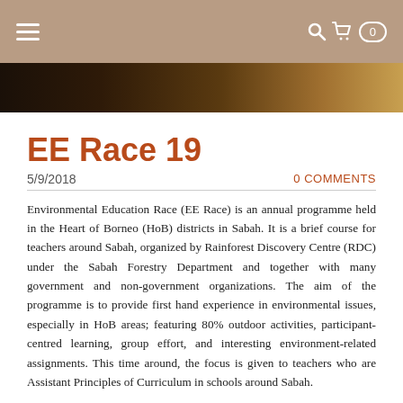Navigation bar with hamburger menu and cart icon (0)
[Figure (photo): Hero image strip showing a dark natural/forest scene]
EE Race 19
5/9/2018    0 COMMENTS
Environmental Education Race (EE Race) is an annual programme held in the Heart of Borneo (HoB) districts in Sabah. It is a brief course for teachers around Sabah, organized by Rainforest Discovery Centre (RDC) under the Sabah Forestry Department and together with many government and non-government organizations. The aim of the programme is to provide first hand experience in environmental issues, especially in HoB areas; featuring 80% outdoor activities, participant-centred learning, group effort, and interesting environment-related assignments. This time around, the focus is given to teachers who are Assistant Principles of Curriculum in schools around Sabah.